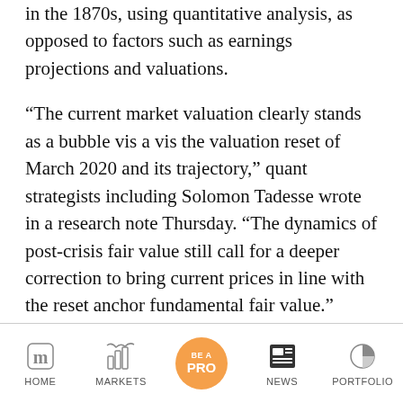in the 1870s, using quantitative analysis, as opposed to factors such as earnings projections and valuations.
“The current market valuation clearly stands as a bubble vis a vis the valuation reset of March 2020 and its trajectory,” quant strategists including Solomon Tadesse wrote in a research note Thursday. “The dynamics of post-crisis fair value still call for a deeper correction to bring current prices in line with the reset anchor fundamental fair value.”
HOME | MARKETS | BE A PRO | NEWS | PORTFOLIO